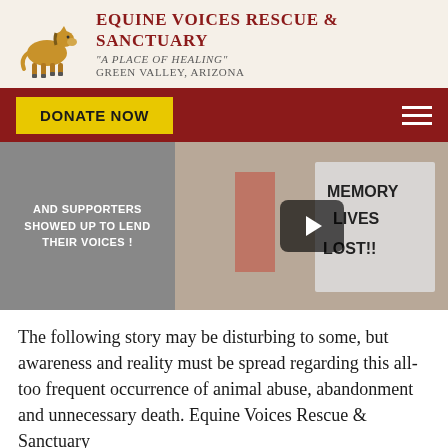[Figure (logo): Equine Voices Rescue & Sanctuary logo with a horse illustration and organization name, tagline, and location]
EQUINE VOICES RESCUE & SANCTUARY
"A Place Of Healing"
Green Valley, Arizona
[Figure (screenshot): Website navigation bar with yellow DONATE NOW button and hamburger menu on dark red background, above a video thumbnail showing protest signs with text 'AND SUPPORTERS SHOWED UP TO LEND THEIR VOICES!' and 'MEMORY LIVES LOST!!' with a play button overlay]
The following story may be disturbing to some, but awareness and reality must be spread regarding this all-too frequent occurrence of animal abuse, abandonment and unnecessary death. Equine Voices Rescue & Sanctuary...